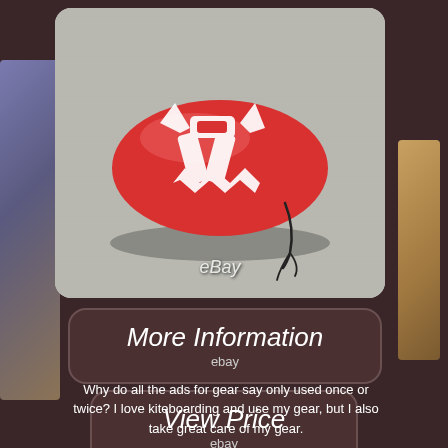[Figure (photo): Red drawstring bag with white Fox Racing logo on a concrete surface, with eBay watermark]
More Information
ebay
View Price
ebay
Why do all the ads for gear say only used once or twice? I love kiteboarding and use my gear, but I also take great care of my gear.